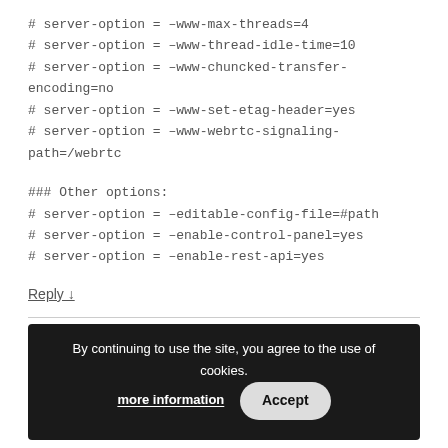# server-option = –www-max-threads=4
# server-option = –www-thread-idle-time=10
# server-option = –www-chuncked-transfer-encoding=no
# server-option = –www-set-etag-header=yes
# server-option = –www-webrtc-signaling-path=/webrtc

### Other options:
# server-option = –editable-config-file=#path
# server-option = –enable-control-panel=yes
# server-option = –enable-rest-api=yes
Reply ↓
Wojciech Domski  Post author
October 5, 2018 at 2:07 AM
Wow. Please do not past such long config files. Thanks!
By continuing to use the site, you agree to the use of cookies. more information  Accept